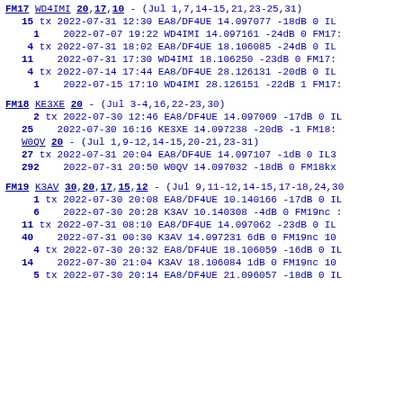FM17 WD4IMI 20,17,10 - (Jul 1,7,14-15,21,23-25,31)
15 tx 2022-07-31 12:30 EA8/DF4UE 14.097077 -18dB 0 IL
1    2022-07-07 19:22 WD4IMI 14.097161 -24dB 0 FM17:
4 tx 2022-07-31 18:02 EA8/DF4UE 18.106085 -24dB 0 IL
11   2022-07-31 17:30 WD4IMI 18.106250 -23dB 0 FM17:
4 tx 2022-07-14 17:44 EA8/DF4UE 28.126131 -20dB 0 IL
1    2022-07-15 17:10 WD4IMI 28.126151 -22dB 1 FM17:
FM18 KE3XE 20 - (Jul 3-4,16,22-23,30)
2 tx 2022-07-30 12:46 EA8/DF4UE 14.097069 -17dB 0 IL
25   2022-07-30 16:16 KE3XE 14.097238 -20dB -1 FM18:
W0QV 20 - (Jul 1,9-12,14-15,20-21,23-31)
27 tx 2022-07-31 20:04 EA8/DF4UE 14.097107 -1dB 0 IL3
292  2022-07-31 20:50 W0QV 14.097032 -18dB 0 FM18kx
FM19 K3AV 30,20,17,15,12 - (Jul 9,11-12,14-15,17-18,24,30
1 tx 2022-07-30 20:08 EA8/DF4UE 10.140166 -17dB 0 IL
6    2022-07-30 20:28 K3AV 10.140308 -4dB 0 FM19nc :
11 tx 2022-07-31 08:10 EA8/DF4UE 14.097062 -23dB 0 IL
40   2022-07-31 00:30 K3AV 14.097231 6dB 0 FM19nc 10
4 tx 2022-07-30 20:32 EA8/DF4UE 18.106059 -16dB 0 IL
14   2022-07-30 21:04 K3AV 18.106084 1dB 0 FM19nc 10
5 tx 2022-07-30 20:14 EA8/DF4UE 21.096057 -18dB 0 IL